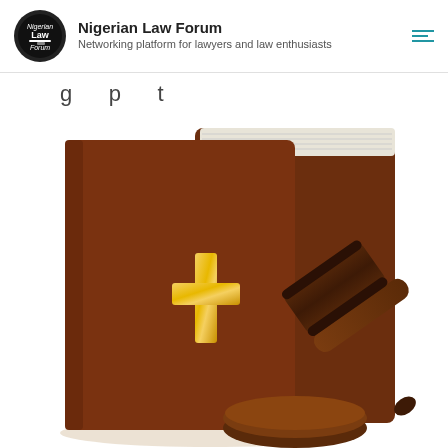Nigerian Law Forum — Networking platform for lawyers and law enthusiasts
g   p   t
[Figure (illustration): Illustration of a brown hardcover Bible with a gold cross on the front, and a judge's gavel resting against it, representing law and religion.]